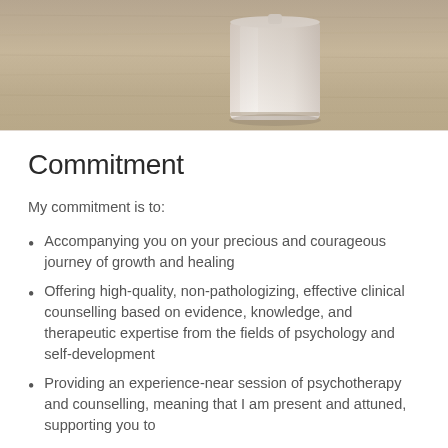[Figure (photo): Photo of a white cylindrical candle or container sitting on a light wooden table surface, warm neutral tones]
Commitment
My commitment is to:
Accompanying you on your precious and courageous journey of growth and healing
Offering high-quality, non-pathologizing, effective clinical counselling based on evidence, knowledge, and therapeutic expertise from the fields of psychology and self-development
Providing an experience-near session of psychotherapy and counselling, meaning that I am present and attuned, supporting you to